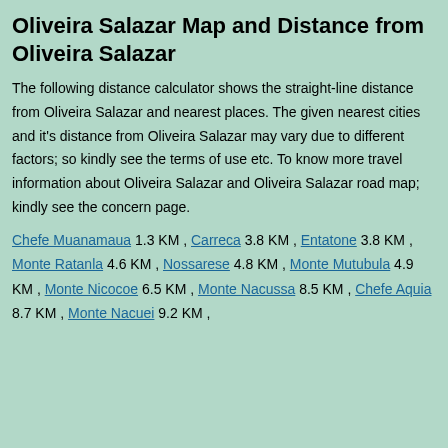Oliveira Salazar Map and Distance from Oliveira Salazar
The following distance calculator shows the straight-line distance from Oliveira Salazar and nearest places. The given nearest cities and it's distance from Oliveira Salazar may vary due to different factors; so kindly see the terms of use etc. To know more travel information about Oliveira Salazar and Oliveira Salazar road map; kindly see the concern page.
Chefe Muanamaua 1.3 KM , Carreca 3.8 KM , Entatone 3.8 KM , Monte Ratanla 4.6 KM , Nossarese 4.8 KM , Monte Mutubula 4.9 KM , Monte Nicocoe 6.5 KM , Monte Nacussa 8.5 KM , Chefe Aquia 8.7 KM , Monte Nacuei 9.2 KM ,